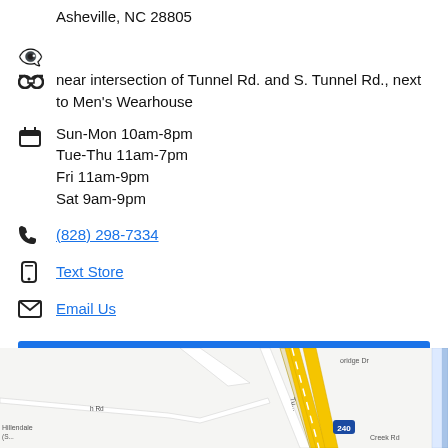Asheville, NC 28805
near intersection of Tunnel Rd. and S. Tunnel Rd., next to Men's Wearhouse
Sun-Mon 10am-8pm
Tue-Thu 11am-7pm
Fri 11am-9pm
Sat 9am-9pm
(828) 298-7334
Text Store
Email Us
GET DIRECTIONS
[Figure (map): Street map showing Tunnel Rd area near Asheville, NC 28805 with route 240 visible]